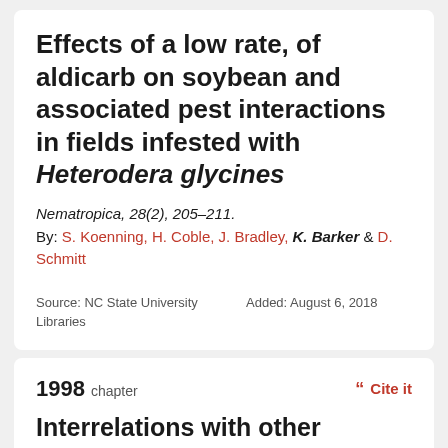Effects of a low rate, of aldicarb on soybean and associated pest interactions in fields infested with Heterodera glycines
Nematropica, 28(2), 205–211.
By: S. Koenning, H. Coble, J. Bradley, K. Barker & D. Schmitt
Source: NC State University Libraries
Added: August 6, 2018
1998 chapter
Interrelations with other microorganisms and pests